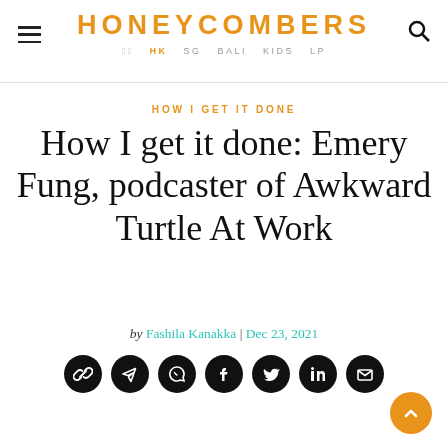HONEYCOMBERS — HK SG BALI KIDS LP
HOW I GET IT DONE
How I get it done: Emery Fung, podcaster of Awkward Turtle At Work
by Fashila Kanakka | Dec 23, 2021
[Figure (other): Row of social sharing icon buttons: link, telegram, whatsapp, facebook, twitter, linkedin, email]
[Figure (other): Orange back-to-top chevron button]